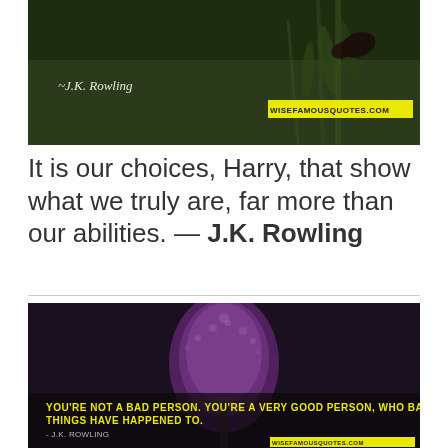[Figure (illustration): Dark green nature background with a butterfly/insect on a plant stem. Text overlay in italic white: '~J.K. Rowling' and a yellow highlighted label 'wisefamousquotes.com']
It is our choices, Harry, that show what we truly are, far more than our abilities. — J.K. Rowling
[Figure (illustration): Dark background with purple fluffy plant (allium/dandelion). Yellow text overlay: 'YOU'RE NOT A BAD PERSON. YOU'RE A VERY GOOD PERSON, WHO BAD THINGS HAVE HAPPENED TO.' Attribution: '- J.K. ROWLING' and yellow highlighted label 'wisefamousquotes.com']